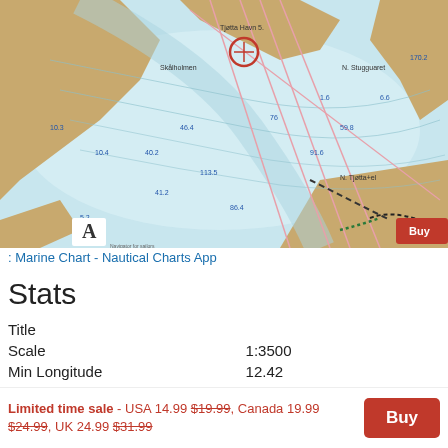[Figure (map): Marine nautical chart showing coastal waterway with depth soundings, navigation markers, pink lines indicating routes/boundaries, dashed lines, land masses in tan/brown, water in blue, and a 'Buy' button overlay in bottom right. Small 'A' logo in bottom left corner.]
: Marine Chart - Nautical Charts App
Stats
| Title |  |
| Scale | 1:3500 |
| Min Longitude | 12.42 |
| Min Latitude | 65.82 |
| Max Longitude | 12.44 |
| Max Latitude | 65.83 |
| Edition Label 1 |  |
Limited time sale - USA 14.99 $19.99, Canada 19.99 $24.99, UK 24.99 $31.99